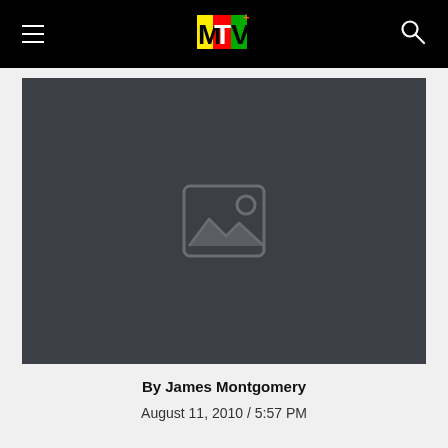MTV navigation header with hamburger menu, MTV logo, and search icon
[Figure (photo): Large dark placeholder image with a broken image icon in the center, dark gray background (#3c3f45)]
By James Montgomery
August 11, 2010 / 5:57 PM